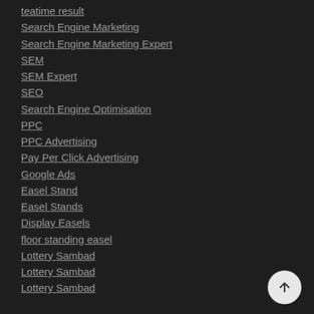teatime result
Search Engine Marketing
Search Engine Marketing Expert
SEM
SEM Expert
SEO
Search Engine Optimisation
PPC
PPC Advertising
Pay Per Click Advertising
Google Ads
Easel Stand
Easel Stands
Display Easels
floor standing easel
Lottery Sambad
Lottery Sambad
Lottery Sambad